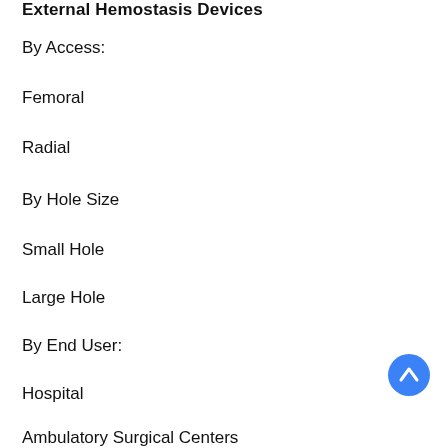External Hemostasis Devices
By Access:
Femoral
Radial
By Hole Size
Small Hole
Large Hole
By End User:
Hospital
Ambulatory Surgical Centers
Others
By Country:
China